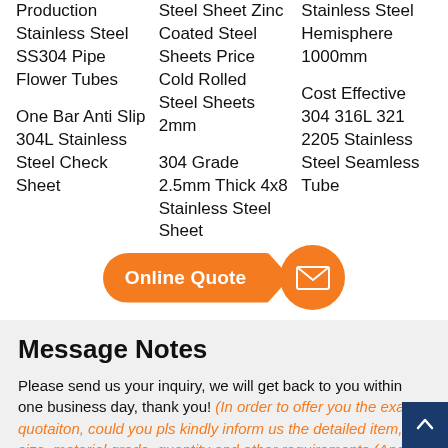Production Stainless Steel SS304 Pipe Flower Tubes
One Bar Anti Slip 304L Stainless Steel Check Sheet
Steel Sheet Zinc Coated Steel Sheets Price Cold Rolled Steel Sheets 2mm
304 Grade 2.5mm Thick 4x8 Stainless Steel Sheet
Stainless Steel Hemisphere 1000mm
Cost Effective 304 316L 321 2205 Stainless Steel Seamless Tube
[Figure (infographic): Orange pill-shaped Online Quote button with arrow pointing to orange circle with envelope/mail icon]
Message Notes
Please send us your inquiry, we will get back to you within one business day, thank you! (In order to offer you the exact quotaiton, could you pls kindly inform us the detailed item, size, material grade, quantity and other requirements.(And our